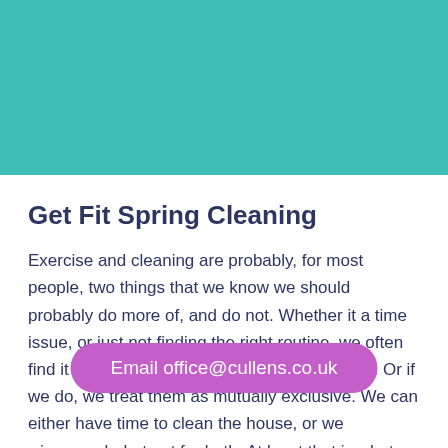[Figure (other): Teal/turquoise color block header banner at top of page]
Get Fit Spring Cleaning
Exercise and cleaning are probably, for most people, two things that we know we should probably do more of, and do not. Whether it a time issue, or just not finding the right routine, we often find it difficult to build either into our busy lives. Or if we do, we treat them as mutually exclusive. We can either have time to clean the house, or we wi... h, but not for both. At least that is what we tell ourselves.
Email office@cullens.co.uk